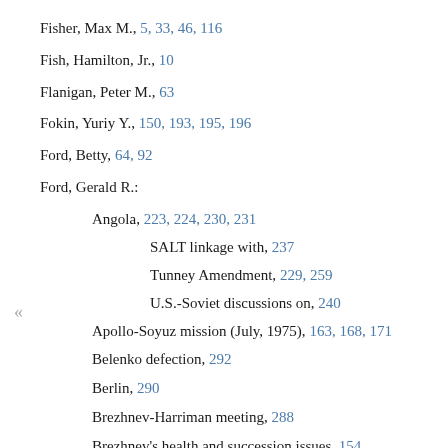Fisher, Max M., 5, 33, 46, 116
Fish, Hamilton, Jr., 10
Flanigan, Peter M., 63
Fokin, Yuriy Y., 150, 193, 195, 196
Ford, Betty, 64, 92
Ford, Gerald R.:
Angola, 223, 224, 230, 231
SALT linkage with, 237
Tunney Amendment, 229, 259
U.S.-Soviet discussions on, 240
Apollo-Soyuz mission (July, 1975), 163, 168, 171
Belenko defection, 292
Berlin, 290
Brezhnev-Harriman meeting, 288
Brezhnev's health and succession issues, 154
Brezhnev's meetings with Kissinger (Oct., 1974), 68, 70, 72,